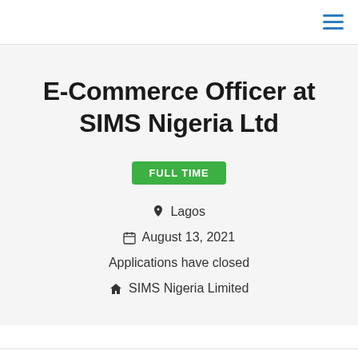hamburger menu icon
E-Commerce Officer at SIMS Nigeria Ltd
FULL TIME
📍 Lagos
🗓 August 13, 2021
Applications have closed
🏠 SIMS Nigeria Limited